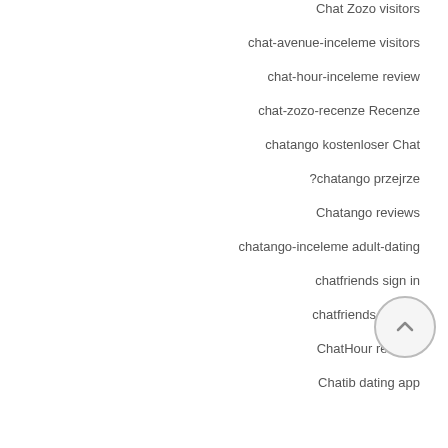Chat Zozo visitors
chat-avenue-inceleme visitors
chat-hour-inceleme review
chat-zozo-recenze Recenze
chatango kostenloser Chat
?chatango przejrze
Chatango reviews
chatango-inceleme adult-dating
chatfriends sign in
chatfriends visitors
ChatHour reviews
Chatib dating app